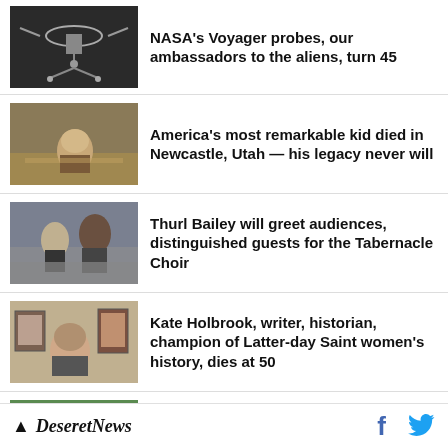[Figure (photo): Black and white photo of NASA Voyager spacecraft]
NASA's Voyager probes, our ambassadors to the aliens, turn 45
[Figure (photo): Person crouching in a dry field in Utah]
America's most remarkable kid died in Newcastle, Utah — his legacy never will
[Figure (photo): People including a tall man in a parking lot outdoors]
Thurl Bailey will greet audiences, distinguished guests for the Tabernacle Choir
[Figure (photo): Woman standing in front of portrait paintings]
Kate Holbrook, writer, historian, champion of Latter-day Saint women's history, dies at 50
[Figure (photo): Aerial view of a town with roads and mountains]
Why the housing market is in recession in terms of sales — but
Deseret News  f  (Twitter bird)